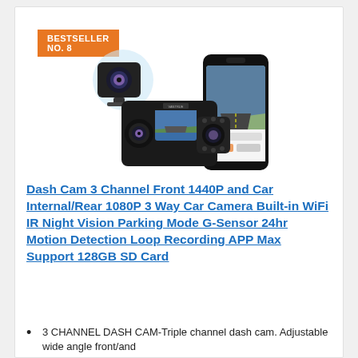BESTSELLER NO. 8
[Figure (photo): Product photo of a 3-channel dash cam system with front camera, interior/rear camera, and a smartphone showing the companion app]
Dash Cam 3 Channel Front 1440P and Car Internal/Rear 1080P 3 Way Car Camera Built-in WiFi IR Night Vision Parking Mode G-Sensor 24hr Motion Detection Loop Recording APP Max Support 128GB SD Card
3 CHANNEL DASH CAM-Triple channel dash cam. Adjustable wide angle front/and